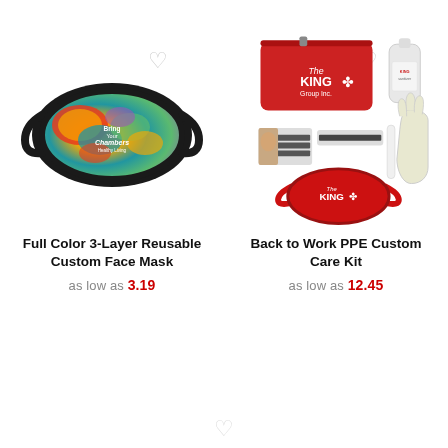[Figure (photo): Full color 3-layer reusable custom face mask with colorful abstract art print and black border, with a heart/wishlist icon above it]
Full Color 3-Layer Reusable Custom Face Mask
as low as 3.19
[Figure (photo): Back to Work PPE Custom Care Kit showing a red branded pouch, hand sanitizer bottle, face mask, gloves, and other PPE items, with a heart/wishlist icon above it]
Back to Work PPE Custom Care Kit
as low as 12.45